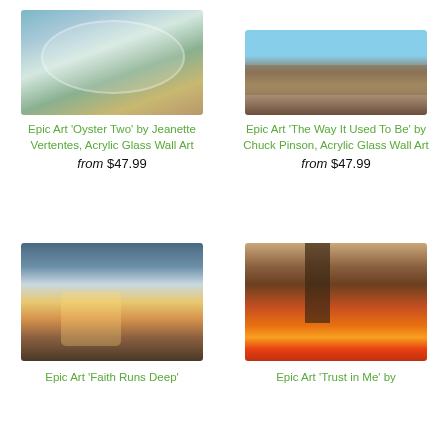[Figure (photo): Painting of an oyster shell on a blue-green background, partially cropped at top]
Epic Art 'Oyster Two' by Jeanette Vertentes, Acrylic Glass Wall Art
from $47.99
[Figure (photo): Painting of turkeys on a rural road with warm autumn tones, partially cropped at top]
Epic Art 'The Way It Used To Be' by Chuck Pinson, Acrylic Glass Wall Art
from $47.99
[Figure (photo): Christmas village winter scene painting with snowy buildings and warm lights]
Epic Art 'Faith Runs Deep'
[Figure (photo): Fantasy forest scene with figure surrounded by fire and glowing light]
Epic Art 'Trust in Me' by